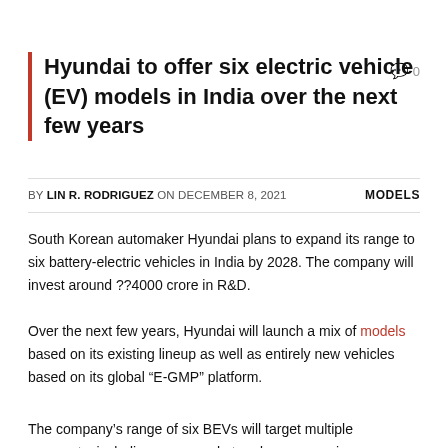Hyundai to offer six electric vehicle (EV) models in India over the next few years
BY LIN R. RODRIGUEZ ON DECEMBER 8, 2021   MODELS
South Korean automaker Hyundai plans to expand its range to six battery-electric vehicles in India by 2028. The company will invest around ??4000 crore in R&D.
Over the next few years, Hyundai will launch a mix of models based on its existing lineup as well as entirely new vehicles based on its global “E-GMP” platform.
The company’s range of six BEVs will target multiple segments, including mass market and mass premium segments in India, one